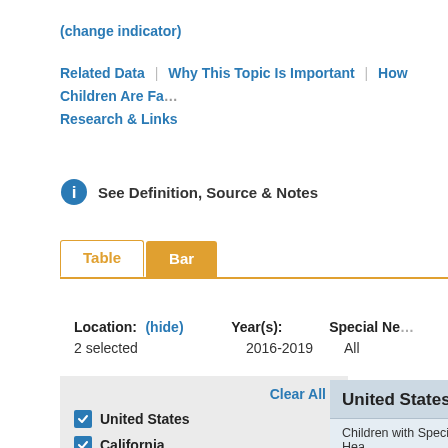(change indicator)
Related Data | Why This Topic Is Important | How Children Are Fa… Research & Links
See Definition, Source & Notes
Table  Bar
Location: (hide)
2 selected
Year(s): 2016-2019
Special Ne… All
Clear All
United States
California
| United States |
| --- |
| Children with Special Hea… |